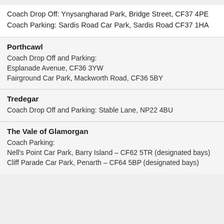Coach Drop Off: Ynysangharad Park, Bridge Street, CF37 4PE
Coach Parking: Sardis Road Car Park, Sardis Road CF37 1HA
Porthcawl
Coach Drop Off and Parking:
Esplanade Avenue, CF36 3YW
Fairground Car Park, Mackworth Road, CF36 5BY
Tredegar
Coach Drop Off and Parking: Stable Lane, NP22 4BU
The Vale of Glamorgan
Coach Parking:
Nell's Point Car Park, Barry Island – CF62 5TR (designated bays)
Cliff Parade Car Park, Penarth – CF64 5BP (designated bays)